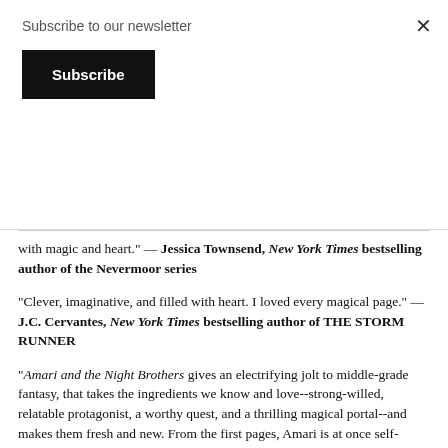Subscribe to our newsletter
Subscribe
with magic and heart." — Jessica Townsend, New York Times bestselling author of the Nevermoor series
"Clever, imaginative, and filled with heart. I loved every magical page." — J.C. Cervantes, New York Times bestselling author of THE STORM RUNNER
“Amari and the Night Brothers gives an electrifying jolt to middle-grade fantasy, that takes the ingredients we know and love--strong-willed, relatable protagonist, a worthy quest, and a thrilling magical portal--and makes them fresh and new. From the first pages, Amari is at once self-possessed and an underdog, battling racism, bias and poverty, all later mirrored in her efforts to find her brother inside the fantastical labyrinth of the Bureau of Supernatural Affairs. Funny, fast-paced, and